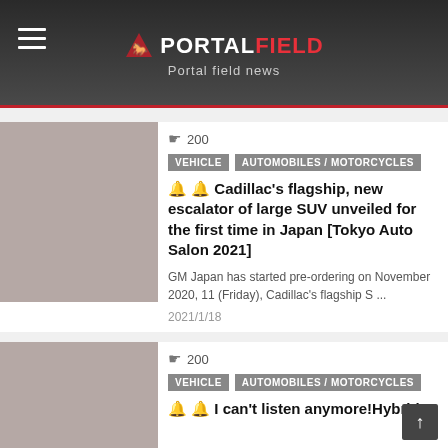PORTALFIELD — Portal field news
200
VEHICLE   AUTOMOBILES / MOTORCYCLES
🔔 🔔 Cadillac's flagship, new escalator of large SUV unveiled for the first time in Japan [Tokyo Auto Salon 2021]
GM Japan has started pre-ordering on November 2020, 11 (Friday), Cadillac's flagship S ...
2021/1/18
200
VEHICLE   AUTOMOBILES / MOTORCYCLES
🔔 🔔 I can't listen anymore!Hybrids